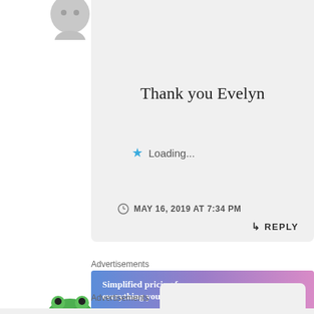[Figure (photo): Partial avatar/profile photo cropped at top left, showing a person's head and shoulders in gray scale]
Thank you Evelyn
★ Loading...
MAY 16, 2019 AT 7:34 PM
↳ REPLY
Advertisements
[Figure (screenshot): WordPress.com advertisement banner with gradient blue-purple-pink background: 'Simplified pricing for everything you need.' with WordPress.com logo]
REPORT THIS AD
[Figure (illustration): Green frog/toad avatar icon, partially visible at bottom left]
Advertisements
REPORT THIS AD